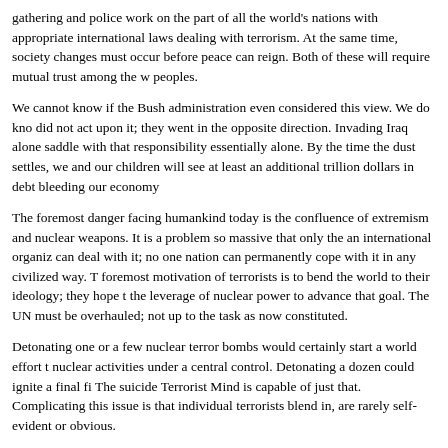What was and is needed to counter terror is the tightest kind of coordinated intelligence gathering and police work on the part of all the world's nations with appropriate international laws dealing with terrorism. At the same time, society changes must occur before peace can reign. Both of these will require mutual trust among the world's peoples.
We cannot know if the Bush administration even considered this view. We do know they did not act upon it; they went in the opposite direction. Invading Iraq alone saddled us with that responsibility essentially alone. By the time the dust settles, we and our children will see at least an additional trillion dollars in debt bleeding our economy.
The foremost danger facing humankind today is the confluence of extremism and nuclear weapons. It is a problem so massive that only the an international organization can deal with it; no one nation can permanently cope with it in any civilized way. The foremost motivation of terrorists is to bend the world to their ideology; they hope to use the leverage of nuclear power to advance that goal. The UN must be overhauled; it is not up to the task as now constituted.
Detonating one or a few nuclear terror bombs would certainly start a world effort to put nuclear activities under a central control. Detonating a dozen could ignite a final fire. The suicide Terrorist Mind is capable of just that. Complicating this issue is that individual terrorists blend in, are rarely self-evident or obvious.
A solution we advocate is to have All Things Nuclear, ATN, control and operate only under and by a strengthened and reformed UN capable of such duty. ATN includes uranium mining, metal extraction, metal refining, isotope separations, isotope purification, bomb material preparations, and the distribution and control of products of these processes by countries or entities claiming ATN includes the...